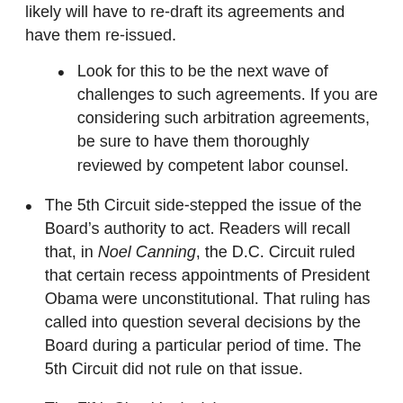likely will have to re-draft its agreements and have them re-issued.
Look for this to be the next wave of challenges to such agreements. If you are considering such arbitration agreements, be sure to have them thoroughly reviewed by competent labor counsel.
The 5th Circuit side-stepped the issue of the Board’s authority to act. Readers will recall that, in Noel Canning, the D.C. Circuit ruled that certain recess appointments of President Obama were unconstitutional. That ruling has called into question several decisions by the Board during a particular period of time. The 5th Circuit did not rule on that issue.
The Fifth Circuit’s decision was not unanimous.